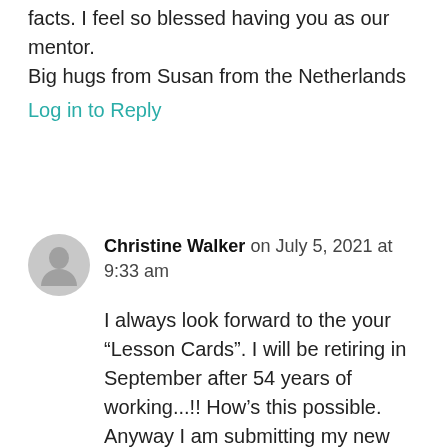facts. I feel so blessed having you as our mentor.
Big hugs from Susan from the Netherlands
Log in to Reply
Christine Walker on July 5, 2021 at 9:33 am
I always look forward to the your “Lesson Cards”. I will be retiring in September after 54 years of working...!! How’s this possible. Anyway I am submitting my new email address to you – so I get